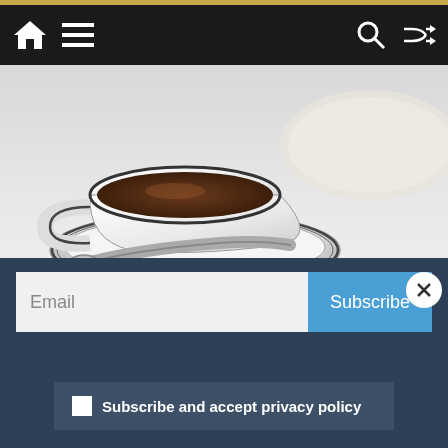[Figure (screenshot): Website navigation bar with home icon, hamburger menu, search icon, and shuffle icon on dark background]
[Figure (photo): Close-up photo of a white coffee cup and saucer with a spoon on a light background]
Tempe Mom's Meet Up
Email
Subscribe
Subscribe and accept privacy policy